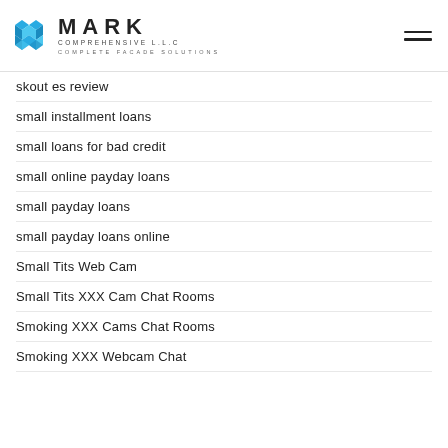MARK COMPREHENSIVE L.L.C — COMPLETE FACADE SOLUTIONS
skout es review
small installment loans
small loans for bad credit
small online payday loans
small payday loans
small payday loans online
Small Tits Web Cam
Small Tits XXX Cam Chat Rooms
Smoking XXX Cams Chat Rooms
Smoking XXX Webcam Chat